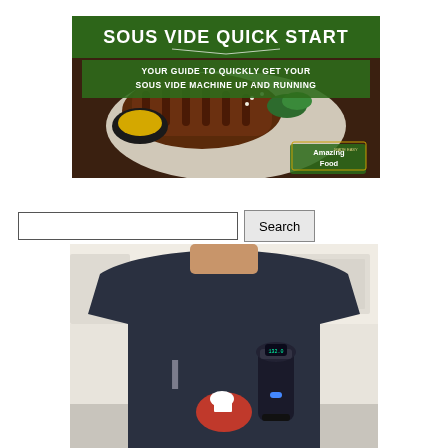[Figure (illustration): Sous Vide Quick Start promotional banner showing grilled meat/ribs on a plate with dipping sauce, green header text overlay reading 'SOUS VIDE QUICK START' and subtitle 'YOUR GUIDE TO QUICKLY GET YOUR SOUS VIDE MACHINE UP AND RUNNING', with an 'Amazing Food Made Easy' badge in bottom right corner]
[Figure (other): Search bar with empty text input field and a 'Search' button]
[Figure (photo): Person wearing a dark navy t-shirt with sous vide themed graphic design showing 'I [chef hat/heart] [sous vide machine]' design, kitchen background visible]